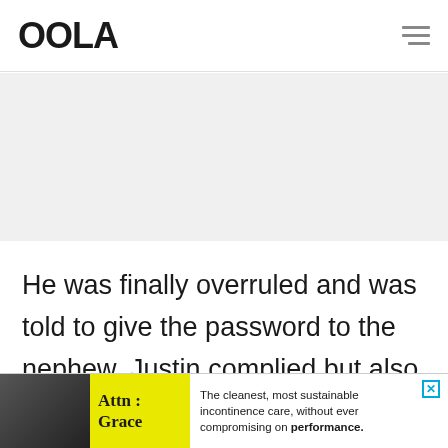OOLA
[Figure (photo): Gray placeholder image area below the navigation header]
He was finally overruled and was told to give the password to the nephew. Justin complied but also showed him multiple times how to
[Figure (infographic): Advertisement banner: Attn: Grace. The cleanest, most sustainable incontinence care, without ever compromising on performance.]